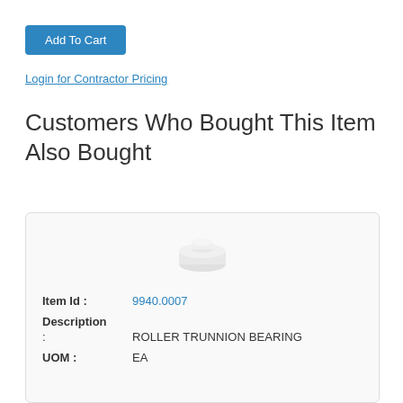Add To Cart
Login for Contractor Pricing
Customers Who Bought This Item Also Bought
[Figure (photo): Small white roller trunnion bearing component, viewed from slightly above.]
Item Id : 9940.0007
Description
: ROLLER TRUNNION BEARING
UOM : EA